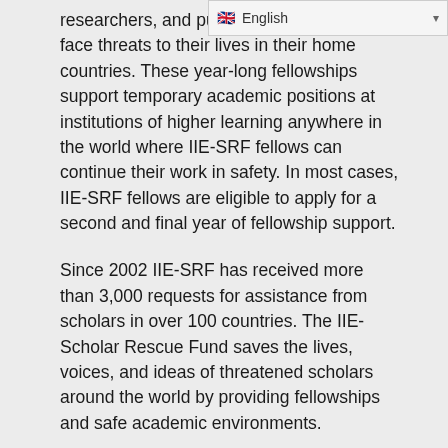researchers, and public intellectuals who face threats to their lives in their home countries. These year-long fellowships support temporary academic positions at institutions of higher learning anywhere in the world where IIE-SRF fellows can continue their work in safety. In most cases, IIE-SRF fellows are eligible to apply for a second and final year of fellowship support.
Since 2002 IIE-SRF has received more than 3,000 requests for assistance from scholars in over 100 countries. The IIE-Scholar Rescue Fund saves the lives, voices, and ideas of threatened scholars around the world by providing fellowships and safe academic environments.